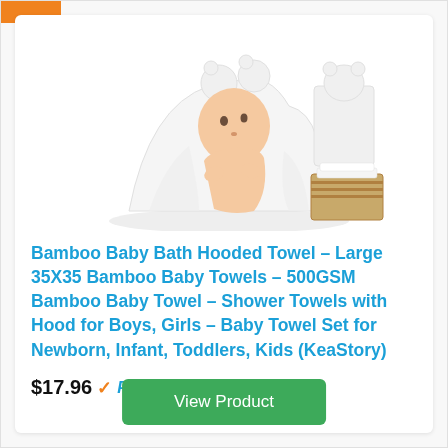[Figure (photo): Baby wrapped in white hooded towel with bear ears, sitting on the towel. To the right, a standalone hooded towel and a bamboo box with towels inside.]
Bamboo Baby Bath Hooded Towel – Large 35X35 Bamboo Baby Towels – 500GSM Bamboo Baby Towel – Shower Towels with Hood for Boys, Girls – Baby Towel Set for Newborn, Infant, Toddlers, Kids (KeaStory)
$17.96 Prime
View Product